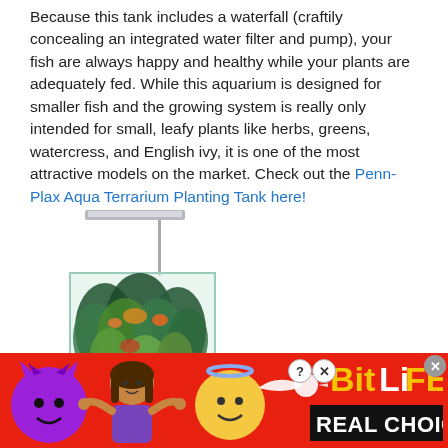Because this tank includes a waterfall (craftily concealing an integrated water filter and pump), your fish are always happy and healthy while your plants are adequately fed. While this aquarium is designed for smaller fish and the growing system is really only intended for small, leafy plants like herbs, greens, watercress, and English ivy, it is one of the most attractive models on the market. Check out the Penn-Plax Aqua Terrarium Planting Tank here!
[Figure (photo): Photo of a Penn-Plax Aqua Terrarium Planting Tank aquarium with integrated grow light on top and lush green plants inside a clear glass tank.]
[Figure (infographic): Advertisement banner for BitLife mobile game with red background, emoji characters (devil, shrug woman, angel face, sperm), BitLife logo in yellow/white, and 'REAL CHOICES' text in black box.]